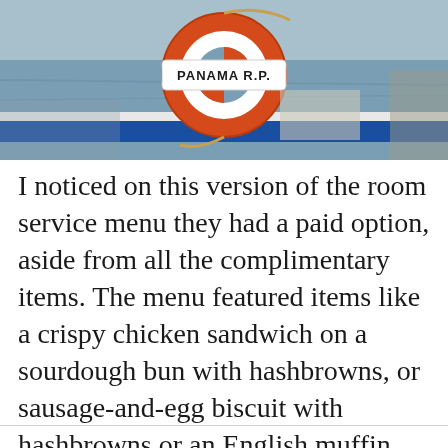[Figure (photo): Photo of a life preserver ring on a ship railing labeled 'PANAMA R.P.' with water visible in the background and a blue railing.]
I noticed on this version of the room service menu they had a paid option, aside from all the complimentary items. The menu featured items like a crispy chicken sandwich on a sourdough bun with hashbrowns, or sausage-and-egg biscuit with hashbrowns or an English muffin with baked eggs and hashbrowns, each of which was $3.